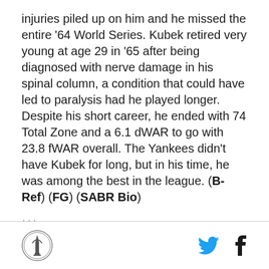injuries piled up on him and he missed the entire '64 World Series. Kubek retired very young at age 29 in '65 after being diagnosed with nerve damage in his spinal column, a condition that could have led to paralysis had he played longer. Despite his short career, he ended with 74 Total Zone and a 6.1 dWAR to go with 23.8 fWAR overall. The Yankees didn't have Kubek for long, but in his time, he was among the best in the league. (B-Ref) (FG) (SABR Bio)
***
So those are your candidates:
Roger Peckinpaugh, Frankie Crosetti, and Tony Kubek